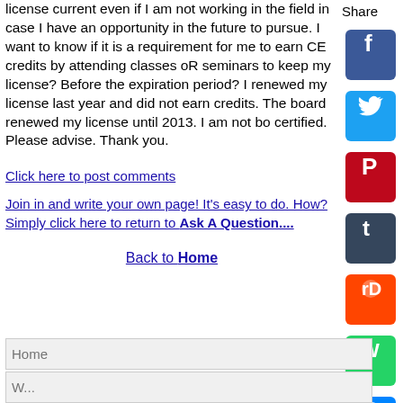license current even if I am not working in the field in case I have an opportunity in the future to pursue. I want to know if it is a requirement for me to earn CE credits by attending classes oR seminars to keep my license? Before the expiration period? I renewed my license last year and did not earn credits. The board renewed my license until 2013. I am not board certified. Please advise. Thank you.
Click here to post comments
Join in and write your own page! It's easy to do. How? Simply click here to return to Ask A Question....
Back to Home
Share
Home
We...